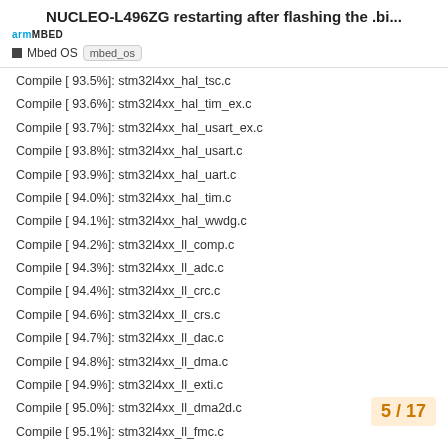NUCLEO-L496ZG restarting after flashing the .bi...
arm MBED | Mbed OS | mbed_os
Compile [ 93.5%]: stm32l4xx_hal_tsc.c
Compile [ 93.6%]: stm32l4xx_hal_tim_ex.c
Compile [ 93.7%]: stm32l4xx_hal_usart_ex.c
Compile [ 93.8%]: stm32l4xx_hal_usart.c
Compile [ 93.9%]: stm32l4xx_hal_uart.c
Compile [ 94.0%]: stm32l4xx_hal_tim.c
Compile [ 94.1%]: stm32l4xx_hal_wwdg.c
Compile [ 94.2%]: stm32l4xx_ll_comp.c
Compile [ 94.3%]: stm32l4xx_ll_adc.c
Compile [ 94.4%]: stm32l4xx_ll_crc.c
Compile [ 94.6%]: stm32l4xx_ll_crs.c
Compile [ 94.7%]: stm32l4xx_ll_dac.c
Compile [ 94.8%]: stm32l4xx_ll_dma.c
Compile [ 94.9%]: stm32l4xx_ll_exti.c
Compile [ 95.0%]: stm32l4xx_ll_dma2d.c
Compile [ 95.1%]: stm32l4xx_ll_fmc.c
Compile [ 95.2%]: stm32l4xx_ll_gpio.c
Compile [ 95.3%]: stm32l4xx_ll_i2c.c
Compile [ 95.4%]: stm32l4xx_ll_lptim.c
5 / 17